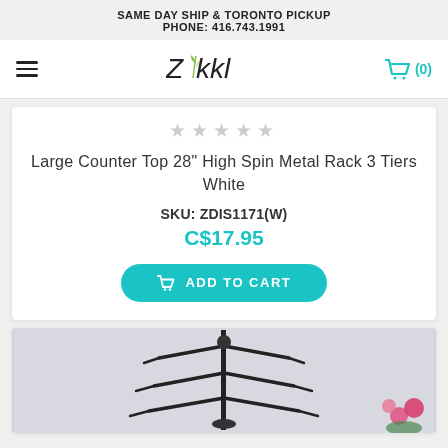SAME DAY SHIP & TORONTO PICKUP
PHONE: 416.743.1991
[Figure (logo): Zikkl logo - stylized italic text with a leaf/plant element between Z and KK]
Large Counter Top 28" High Spin Metal Rack 3 Tiers White
SKU: ZDIS1171(W)
C$17.95
ADD TO CART
[Figure (photo): Product image showing a black metal spinning display rack with multiple tiers/hooks, with pink flowers visible in the bottom right corner]